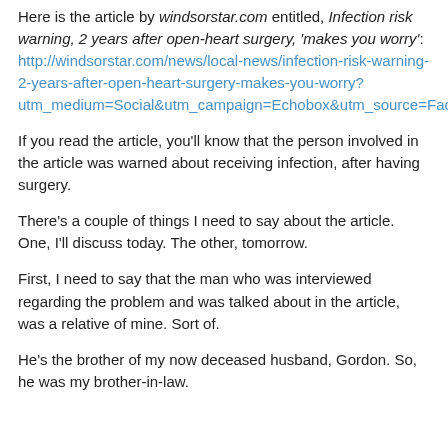Here is the article by windsorstar.com entitled, Infection risk warning, 2 years after open-heart surgery, 'makes you worry':  http://windsorstar.com/news/local-news/infection-risk-warning-2-years-after-open-heart-surgery-makes-you-worry?utm_medium=Social&utm_campaign=Echobox&utm_source=Facebook&utm_term=Autofeed#link_time=1484351720.
If you read the article, you'll know that the person involved in the article was warned about receiving infection, after having surgery.
There's a couple of things I need to say about the article.  One, I'll discuss today.  The other, tomorrow.
First, I need to say that the man who was interviewed regarding the problem and was talked about in the article, was a relative of mine.  Sort of.
He's the brother of my now deceased husband, Gordon.  So, he was my brother-in-law.